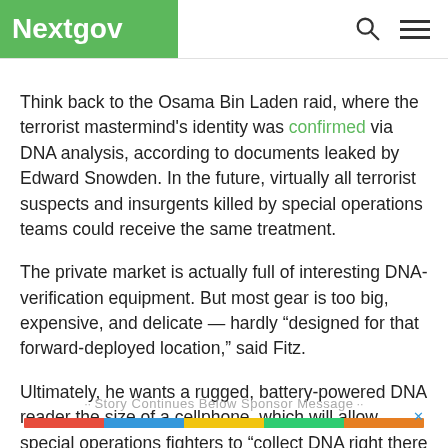Nextgov
Think back to the Osama Bin Laden raid, where the terrorist mastermind's identity was confirmed via DNA analysis, according to documents leaked by Edward Snowden. In the future, virtually all terrorist suspects and insurgents killed by special operations teams could receive the same treatment.
The private market is actually full of interesting DNA-verification equipment. But most gear is too big, expensive, and delicate — hardly “designed for that forward-deployed location,” said Fitz.
Ultimately, he wants a rugged, battery-powered DNA reader the size of a cellphone, which will allow special operations fighters to “collect DNA right there on the site.” It should connect to a database to allow verification on location as well.
·· Story Continues Below Sponsor Message ··